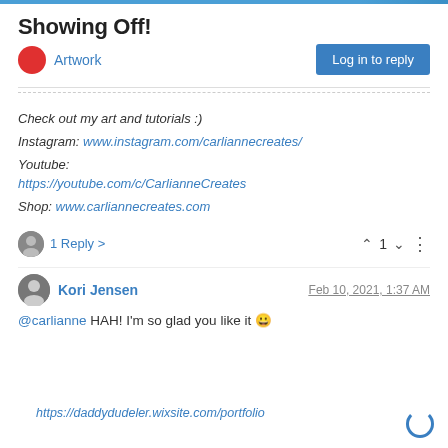Showing Off!
Artwork
Check out my art and tutorials :)

Instagram: www.instagram.com/carliannecreates/

Youtube:
https://youtube.com/c/CarlianneCreates

Shop: www.carliannecreates.com
1 Reply >    1
Kori Jensen    Feb 10, 2021, 1:37 AM
@carlianne HAH! I'm so glad you like it 😀
https://daddydudeler.wixsite.com/portfolio